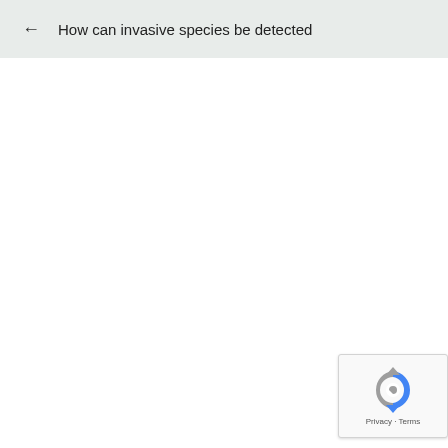← How can invasive species be detected
[Figure (logo): reCAPTCHA widget with blue and grey recycling-arrow logo, Privacy and Terms links below]
Privacy · Terms